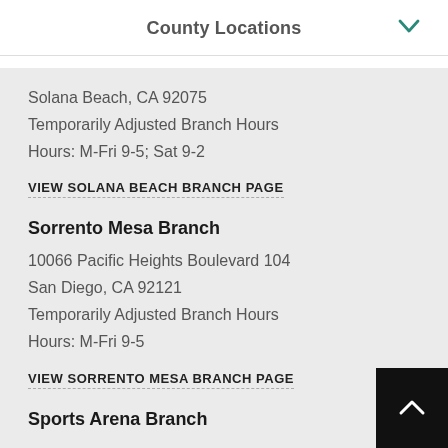County Locations
Solana Beach, CA 92075
Temporarily Adjusted Branch Hours
Hours: M-Fri 9-5; Sat 9-2
VIEW SOLANA BEACH BRANCH PAGE
Sorrento Mesa Branch
10066 Pacific Heights Boulevard 104
San Diego, CA 92121
Temporarily Adjusted Branch Hours
Hours: M-Fri 9-5
VIEW SORRENTO MESA BRANCH PAGE
Sports Arena Branch